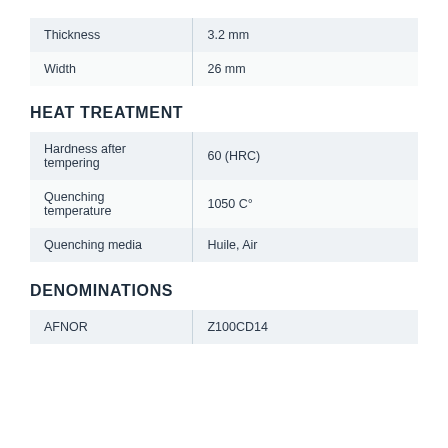| Thickness | 3.2 mm |
| Width | 26 mm |
HEAT TREATMENT
| Hardness after tempering | 60 (HRC) |
| Quenching temperature | 1050 C° |
| Quenching media | Huile, Air |
DENOMINATIONS
| AFNOR | Z100CD14 |